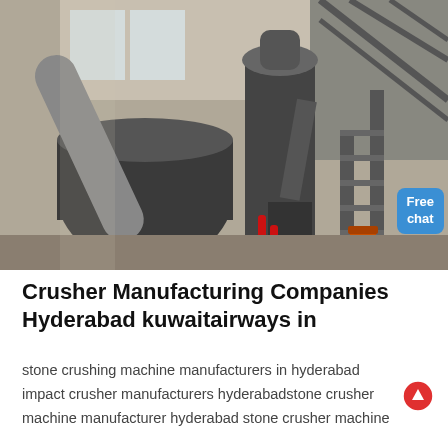[Figure (photo): Industrial interior showing large crushing/milling machinery and equipment in a factory building with high ceilings, steel framework, metal ducts, conveyors, and an orange barrel on the floor.]
Crusher Manufacturing Companies Hyderabad kuwaitairways in
stone crushing machine manufacturers in hyderabad
impact crusher manufacturers hyderabadstone crusher machine manufacturer hyderabad stone crusher machine